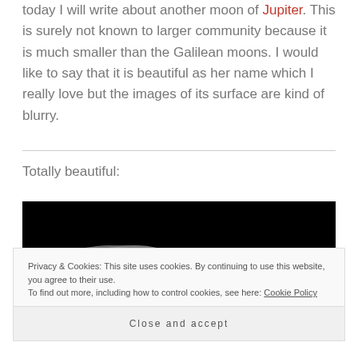today I will write about another moon of Jupiter. This is surely not known to larger community because it is much smaller than the Galilean moons. I would like to say that it is beautiful as her name which I really love but the images of its surface are kind of blurry.
Totally beautiful:
[Figure (photo): Blurry black and white photograph of a small moon of Jupiter, showing a rough, rocky surface against a black background.]
Privacy & Cookies: This site uses cookies. By continuing to use this website, you agree to their use. To find out more, including how to control cookies, see here: Cookie Policy
Close and accept